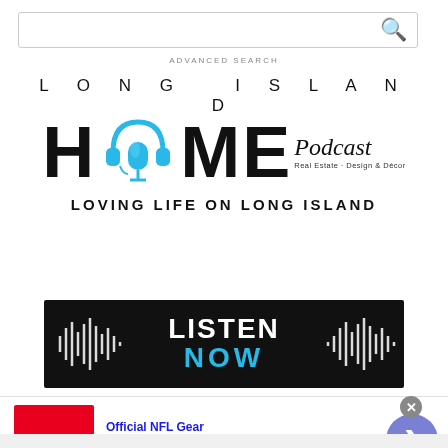[Figure (screenshot): Search bar with magnifying glass icon]
ADVANCED SEARCH
[Figure (logo): Long Island HOME Podcast logo with headphones/microphone graphic. Text: LONG ISLAND HOME Podcast Real Estate · Design & Décor. Tagline: LOVING LIFE ON LONG ISLAND]
[Figure (illustration): Black banner with waveform graphics and text LISTEN NOW (NOW in blue)]
[Figure (screenshot): Advertisement: Official NFL Gear - Get Your Favorite Team's Gear Here - www.nflshop.com - 50% OFF red image - blue arrow button]